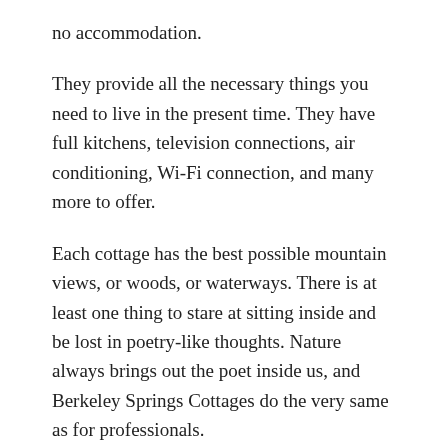no accommodation.
They provide all the necessary things you need to live in the present time. They have full kitchens, television connections, air conditioning, Wi-Fi connection, and many more to offer.
Each cottage has the best possible mountain views, or woods, or waterways. There is at least one thing to stare at sitting inside and be lost in poetry-like thoughts. Nature always brings out the poet inside us, and Berkeley Springs Cottages do the very same as for professionals.